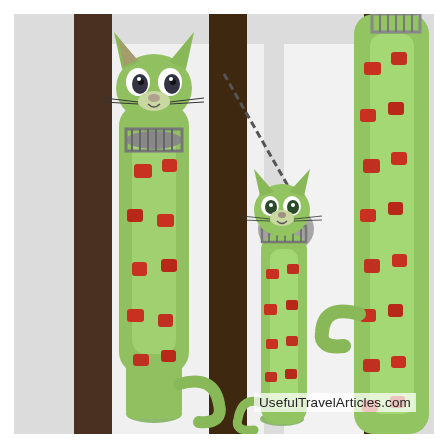[Figure (photo): Three decorative wooden cat figurines painted lime green with red square spots and metal spring collars, displayed leaning against a wooden lattice/fence background. Two taller cats flank a smaller cat in the center.]
UsefulTravelArticles.com